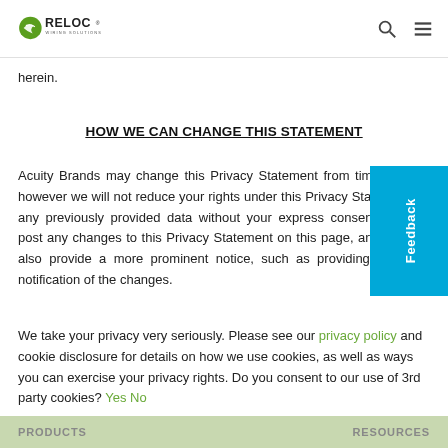RELOC WIRING SOLUTIONS
herein.
HOW WE CAN CHANGE THIS STATEMENT
Acuity Brands may change this Privacy Statement from time to time, however we will not reduce your rights under this Privacy Statement for any previously provided data without your express consent. We will post any changes to this Privacy Statement on this page, and we may also provide a more prominent notice, such as providing an email notification of the changes.
We take your privacy very seriously. Please see our privacy policy and cookie disclosure for details on how we use cookies, as well as ways you can exercise your privacy rights. Do you consent to our use of 3rd party cookies? Yes No
PRODUCTS    RESOURCES